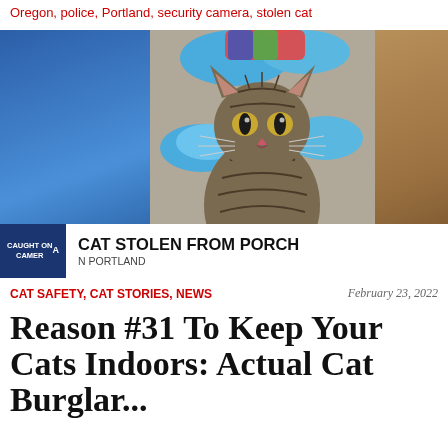Oregon, police, Portland, security camera, stolen cat
[Figure (photo): A tabby cat sitting on a bed surrounded by blue fuzzy slippers and colorful blankets. A news chyron at the bottom reads 'CAUGHT ON CAMERA' and 'CAT STOLEN FROM PORCH / N PORTLAND'.]
CAT STOLEN FROM PORCH / N PORTLAND
CAT SAFETY, CAT STORIES, NEWS — February 23, 2022
Reason #31 To Keep Your Cats Indoors: Actual Cat Burglar...